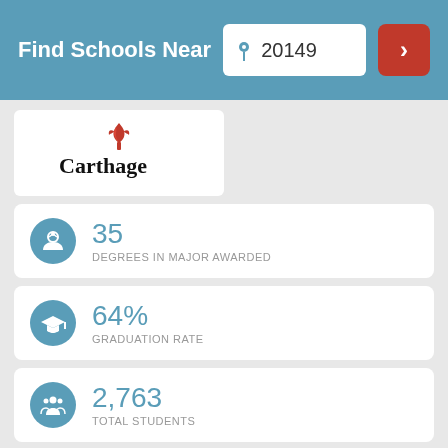Find Schools Near 20149
[Figure (logo): Carthage College logo with red torch icon and black text reading Carthage]
35
DEGREES IN MAJOR AWARDED
64%
GRADUATION RATE
2,763
TOTAL STUDENTS
Concordia University